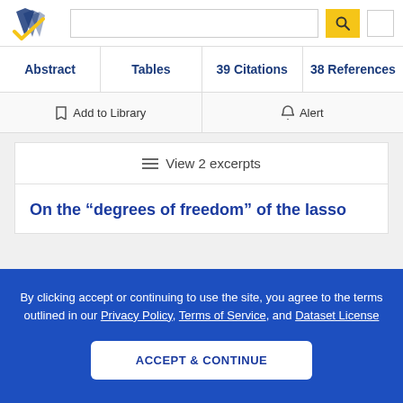[Figure (logo): Semantic Scholar logo — stylized book pages icon with blue and gold colors]
Abstract | Tables | 39 Citations | 38 References
Add to Library | Alert
≡ View 2 excerpts
On the “degrees of freedom” of the lasso
By clicking accept or continuing to use the site, you agree to the terms outlined in our Privacy Policy, Terms of Service, and Dataset License
ACCEPT & CONTINUE